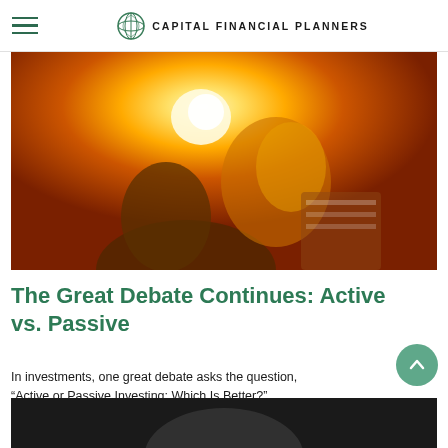CAPITAL FINANCIAL PLANNERS
[Figure (photo): Two people viewed from behind in warm golden sunlight, one with long blonde hair highlighted by sun flare, orange/amber tones throughout]
The Great Debate Continues: Active vs. Passive
In investments, one great debate asks the question, “Active or Passive Investing: Which Is Better?”
[Figure (photo): Partial bottom strip showing what appears to be a person, dark tones, cropped at bottom of page]